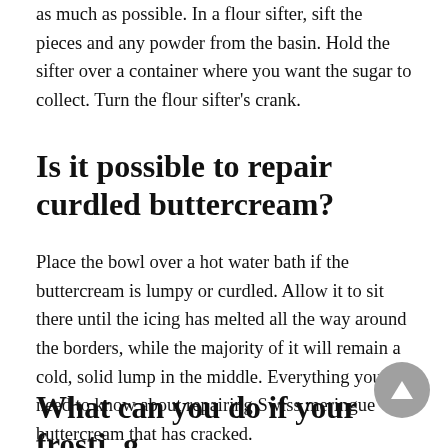as much as possible. In a flour sifter, sift the pieces and any powder from the basin. Hold the sifter over a container where you want the sugar to collect. Turn the flour sifter's crank.
Is it possible to repair curdled buttercream?
Place the bowl over a hot water bath if the buttercream is lumpy or curdled. Allow it to sit there until the icing has melted all the way around the borders, while the majority of it will remain a cold, solid lump in the middle. Everything you need to know about repairing Swiss meringue buttercream that has cracked.
What can you do if your frosting is lumpy?